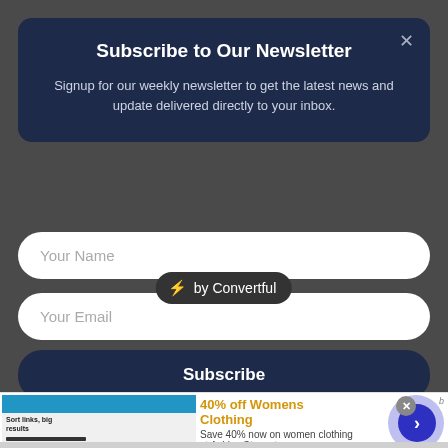Subscribe to Our Newsletter
Signup for our weekly newsletter to get the latest news and update delivered directly to your inbox.
Your Name
Your Email
Subscribe
[Figure (screenshot): Convertful badge showing lightning bolt icon and 'by Convertful' text on dark background]
[Figure (screenshot): Website preview showing 'Short links, big results' with blue header and purple circle arrow button]
[Figure (screenshot): Advertisement banner: '40% off Womens Clothing - Save 40% now on women clothing at Ashley Stewart - bit.ly' with product image and purple arrow circle button]